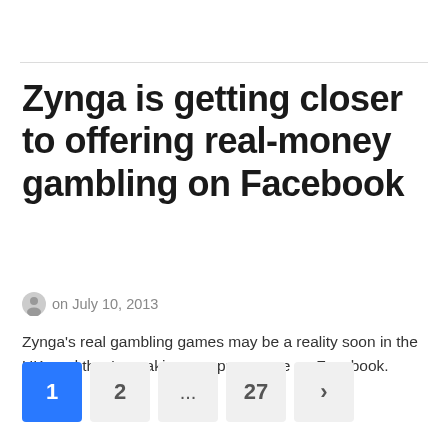Zynga is getting closer to offering real-money gambling on Facebook
on July 10, 2013
Zynga's real gambling games may be a reality soon in the UK, and they're making an appearance on Facebook.
1 2 ... 27 >